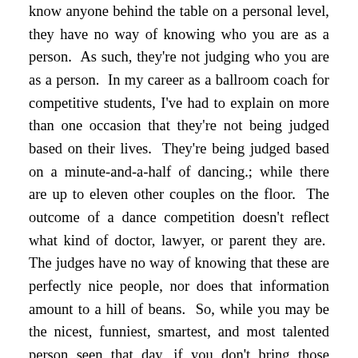know anyone behind the table on a personal level, they have no way of knowing who you are as a person. As such, they're not judging who you are as a person. In my career as a ballroom coach for competitive students, I've had to explain on more than one occasion that they're not being judged based on their lives. They're being judged based on a minute-and-a-half of dancing.; while there are up to eleven other couples on the floor. The outcome of a dance competition doesn't reflect what kind of doctor, lawyer, or parent they are. The judges have no way of knowing that these are perfectly nice people, nor does that information amount to a hill of beans. So, while you may be the nicest, funniest, smartest, and most talented person seen that day, if you don't bring those qualities with you into the audition room, then they're not serving you, nor does it change the fact that you're nice, funny, smart, and